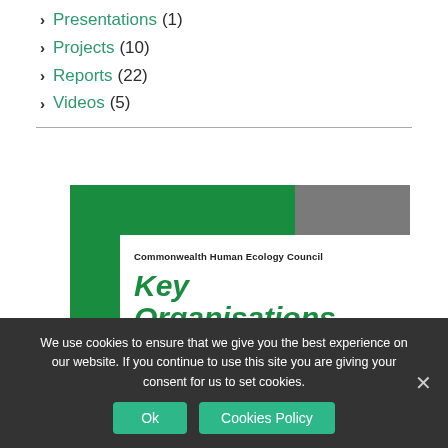Presentations (1)
Projects (10)
Reports (22)
Videos (5)
[Figure (illustration): Book cover for 'Key Organisations' from Commonwealth Human Ecology Council, with green frame on top and left, gray block top right, white inner area with bold italic green title text.]
We use cookies to ensure that we give you the best experience on our website. If you continue to use this site you are giving your consent for us to set cookies.